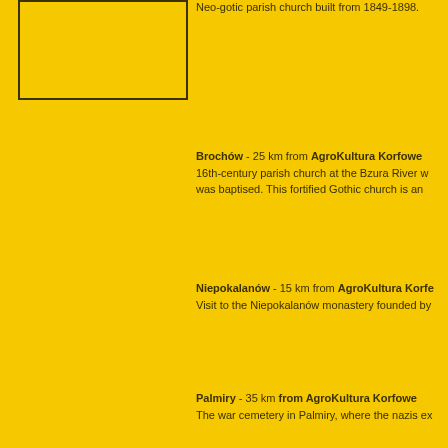[Figure (photo): Rectangular image placeholder box with dark border on yellow background]
Neo-gotic parish church built from 1849-1898.
Brochów - 25 km from AgroKultura Korfowe
16th-century parish church at the Bzura River w was baptised. This fortified Gothic church is an
Niepokalanów - 15 km from AgroKultura Korfe
Visit to the Niepokalanów monastery founded by
Palmiry - 35 km from AgroKultura Korfowe
The war cemetery in Palmiry, where the nazis ex